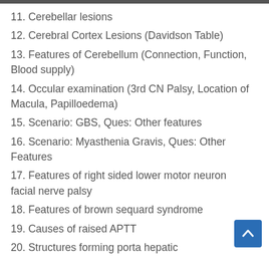11. Cerebellar lesions
12. Cerebral Cortex Lesions (Davidson Table)
13. Features of Cerebellum (Connection, Function, Blood supply)
14. Occular examination (3rd CN Palsy, Location of Macula, Papilloedema)
15. Scenario: GBS, Ques: Other features
16. Scenario: Myasthenia Gravis, Ques: Other Features
17. Features of right sided lower motor neuron facial nerve palsy
18. Features of brown sequard syndrome
19. Causes of raised APTT
20. Structures forming porta hepatic